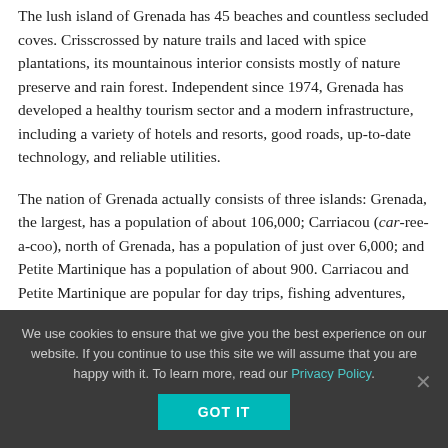The lush island of Grenada has 45 beaches and countless secluded coves. Crisscrossed by nature trails and laced with spice plantations, its mountainous interior consists mostly of nature preserve and rain forest. Independent since 1974, Grenada has developed a healthy tourism sector and a modern infrastructure, including a variety of hotels and resorts, good roads, up-to-date technology, and reliable utilities.
The nation of Grenada actually consists of three islands: Grenada, the largest, has a population of about 106,000; Carriacou (car-ree-a-coo), north of Grenada, has a population of just over 6,000; and Petite Martinique has a population of about 900. Carriacou and Petite Martinique are popular for day trips, fishing adventures, sailing destinations, or diving and snorkeling excursions, but most of the tourist activity is on the
We use cookies to ensure that we give you the best experience on our website. If you continue to use this site we will assume that you are happy with it. To learn more, read our Privacy Policy.